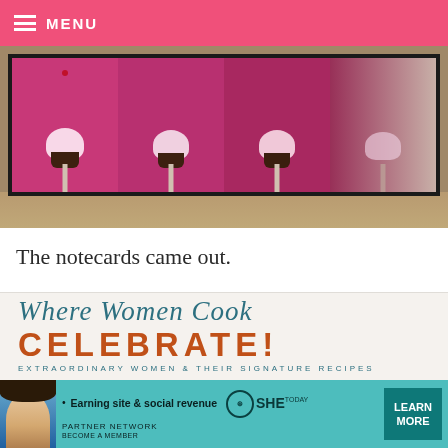≡ MENU
[Figure (photo): Photo of cupcake cake pops displayed on a screen/monitor inside a cardboard box, showing four panels with pink/chocolate cake pops on sticks]
The notecards came out.
[Figure (photo): Where Women Cook CELEBRATE! book cover image showing title in teal and orange text with subtitle 'EXTRAORDINARY WOMEN & THEIR SIGNATURE RECIPES' and bottom strip of event/food photos]
[Figure (infographic): SHE Partner Network advertisement banner: 'Earning site & social revenue' with SHE TODAY logo and LEARN MORE button and BECOME A MEMBER text]